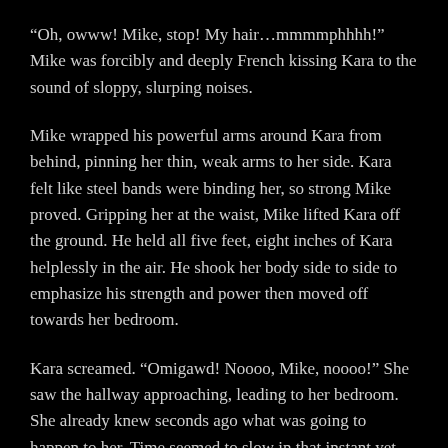“Oh, owww! Mike, stop! My hair…mmmmphhhh!” Mike was forcibly and deeply French kissing Kara to the sound of sloppy, slurping noises.
Mike wrapped his powerful arms around Kara from behind, pinning her thin, weak arms to her side. Kara felt like steel bands were binding her, so strong Mike proved. Gripping her at the waist, Mike lifted Kara off the ground. He held all five feet, eight inches of Kara helplessly in the air. He shook her body side to side to emphasize his strength and power then moved off towards her bedroom.
Kara screamed. “Omigawd! Noooo, Mike, noooo!” She saw the hallway approaching, leading to her bedroom. She already knew seconds ago what was going to happen to her. Time seemed to slow in that instant yet continue inexorably forward. Her mind was already